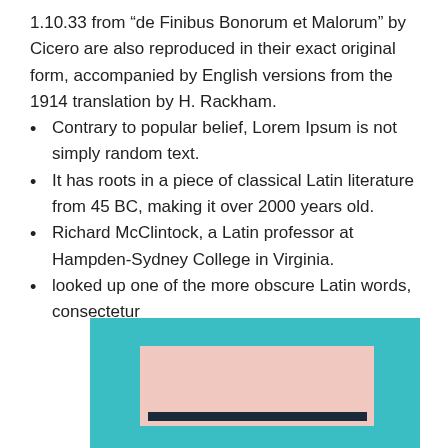1.10.33 from “de Finibus Bonorum et Malorum” by Cicero are also reproduced in their exact original form, accompanied by English versions from the 1914 translation by H. Rackham.
Contrary to popular belief, Lorem Ipsum is not simply random text.
It has roots in a piece of classical Latin literature from 45 BC, making it over 2000 years old.
Richard McClintock, a Latin professor at Hampden-Sydney College in Virginia.
looked up one of the more obscure Latin words, consectetur
[Figure (illustration): A teal/cyan colored box containing a lighter pink/peach inner rectangle and a dark navy horizontal bar near the bottom center, partially visible at the bottom of the page.]